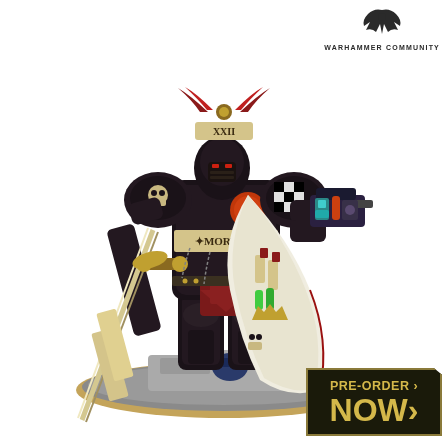[Figure (photo): A painted Warhammer 40,000 Space Marines miniature figure wearing black power armour with dark red/purple details, holding a large ornate sword with a scroll reading 'MORTIS' across the chest, a bolter weapon in the right hand, wearing a white and cream cape. The figure stands on a grey stone rubble base with a golden rim. The miniature is highly detailed with skulls, chains, purity seals, and a winged helmet crest marked XXII.]
WARHAMMER COMMUNITY
[Figure (logo): Warhammer Community logo with eagle/aquila icon above the text WARHAMMER COMMUNITY]
PRE-ORDER NOW >